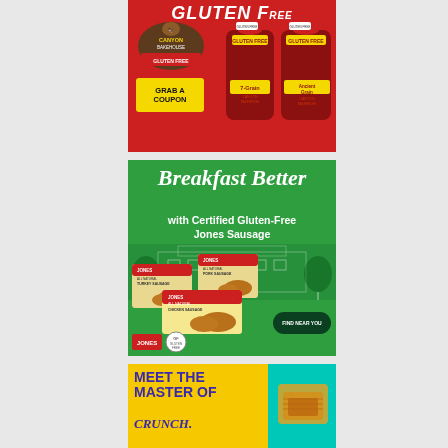[Figure (advertisement): Canyon Bakehouse Gluten Free bread advertisement on red background. Shows 'GLUTEN FREE' text at top, Canyon Bakehouse logo, two bread bags (7-Grain and Ancient Grain), and a yellow 'GRAB A COUPON' button.]
[Figure (advertisement): Jones Sausage advertisement on green background. Says 'Breakfast Better with Certified Gluten-Free Jones Sausage'. Shows product boxes for Turkey Sausage, Pork Sausage, and Chicken Sausage with a 'FIND NEAR YOU' button.]
[Figure (advertisement): Advertisement with yellow and teal background. Text reads 'MEET THE MASTER OF CRUNCH.' in bold purple text.]